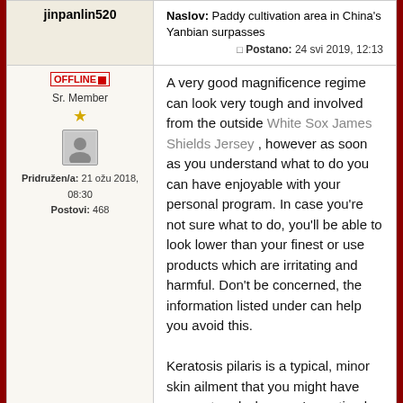| User | Post content |
| --- | --- |
| jinpanlin520 | Naslov: Paddy cultivation area in China's Yanbian surpasses
Postano: 24 svi 2019, 12:13 |
| OFFLINE
Sr. Member
★
[avatar]
Pridružen/a: 21 ožu 2018, 08:30
Postovi: 468 | A very good magnificence regime can look very tough and involved from the outside White Sox James Shields Jersey , however as soon as you understand what to do you can have enjoyable with your personal program. In case you're not sure what to do, you'll be able to look lower than your finest or use products which are irritating and harmful. Don't be concerned, the information listed under can help you avoid this.

Keratosis pilaris is a typical, minor skin ailment that you might have encountered when you've noticed bumps breaking out in your arms' back sides. This occurs more usually in the winter as a result of the air outdoors is extra dry. Use a great physique scrub to softly exfoliate the pores and skin, |